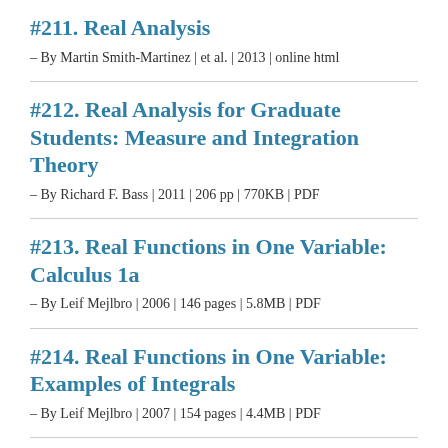#211. Real Analysis
- By Martin Smith-Martinez | et al. | 2013 | online html
#212. Real Analysis for Graduate Students: Measure and Integration Theory
- By Richard F. Bass | 2011 | 206 pp | 770KB | PDF
#213. Real Functions in One Variable: Calculus 1a
- By Leif Mejlbro | 2006 | 146 pages | 5.8MB | PDF
#214. Real Functions in One Variable: Examples of Integrals
- By Leif Mejlbro | 2007 | 154 pages | 4.4MB | PDF